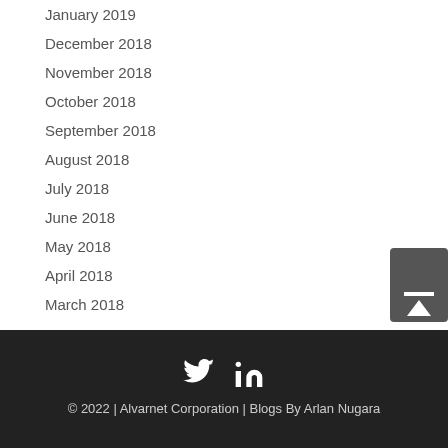January 2019
December 2018
November 2018
October 2018
September 2018
August 2018
July 2018
June 2018
May 2018
April 2018
March 2018
© 2022 | Alvarnet Corporation | Blogs By Arlan Nugara